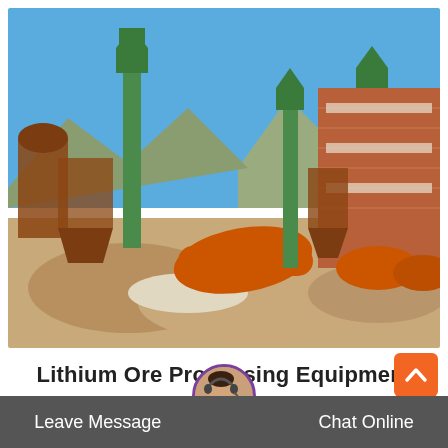[Figure (photo): Outdoor photograph of a lithium ore processing plant showing large green bucket elevators/conveyors, orange cylindrical ball mills, rust-colored storage tanks on metal frames, piles of ore/earth in the foreground, a red brick industrial building in the background, and a clear blue sky with mountains visible.]
Lithium Ore Processing Equipment
Leave Message
Chat Online